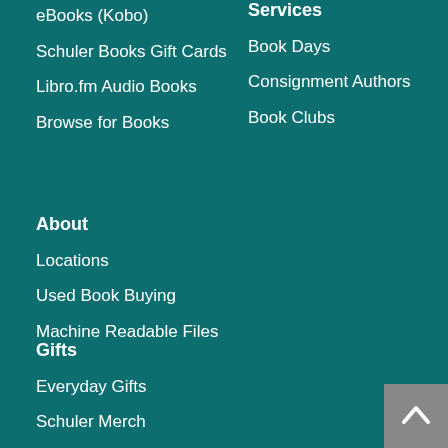eBooks (Kobo)
Schuler Books Gift Cards
Libro.fm Audio Books
Browse for Books
Services
Book Days
Consignment Authors
Book Clubs
About
Locations
Used Book Buying
Machine Readable Files
Gifts
Everyday Gifts
Schuler Merch
Games